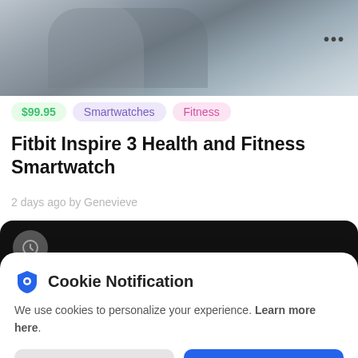[Figure (photo): Top portion of a product listing page showing a person wearing a smartwatch, partially cropped. Gray-toned clothing visible. Three dots menu icon in upper right.]
$99.95   Smartwatches   Fitness
Fitbit Inspire 3 Health and Fitness Smartwatch
2 days ago by Genevieve
[Figure (screenshot): Dark black bar at the bottom of the product listing, partially visible, with a circular icon on the left.]
Cookie Notification
We use cookies to personalize your experience. Learn more here.
I Don't Accept   I Accept